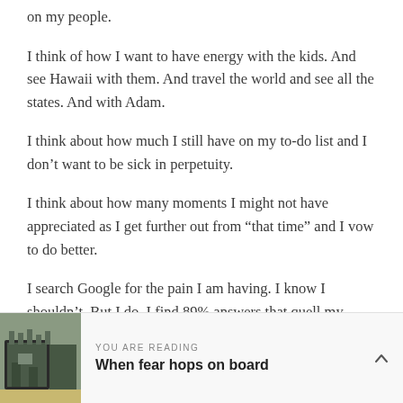on my people.
I think of how I want to have energy with the kids. And see Hawaii with them. And travel the world and see all the states. And with Adam.
I think about how much I still have on my to-do list and I don’t want to be sick in perpetuity.
I think about how many moments I might not have appreciated as I get further out from “that time” and I vow to do better.
I search Google for the pain I am having. I know I shouldn’t. But I do. I find 89% answers that quell my fears. 11% that spin me right round baby right round. I vow to stay off of google.
I pray and pray and pray for a calmed mind. I pray that all
YOU ARE READING
When fear hops on board